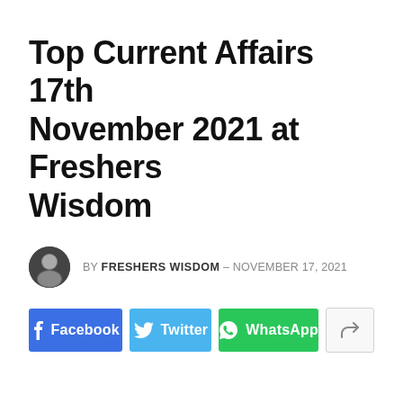Top Current Affairs 17th November 2021 at Freshers Wisdom
BY FRESHERS WISDOM – NOVEMBER 17, 2021
[Figure (infographic): Social share buttons row: Facebook (blue), Twitter (light blue), WhatsApp (green), and a share/more button (grey outlined)]